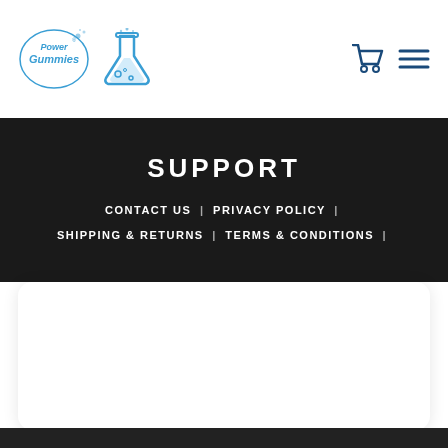[Figure (logo): Power Gummies logo (text logo in blue handwritten style) and a blue chemistry flask/lab beaker illustration icon]
[Figure (illustration): Shopping cart icon in blue and hamburger menu icon in dark blue, top right navigation]
SUPPORT
CONTACT US | PRIVACY POLICY | SHIPPING & RETURNS | TERMS & CONDITIONS |
[Figure (screenshot): White rounded rectangle card area below the dark support section, mostly blank/white content area]